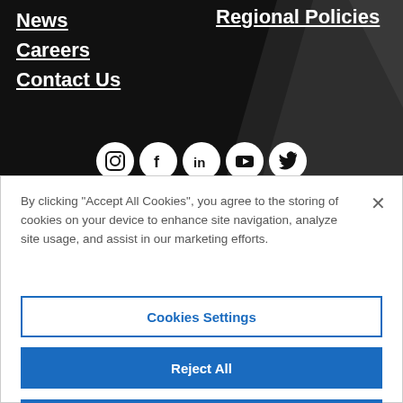News
Regional Policies
Careers
Contact Us
[Figure (illustration): Social media icons: Instagram, Facebook, LinkedIn, YouTube, Twitter in white circles on dark background]
By clicking “Accept All Cookies”, you agree to the storing of cookies on your device to enhance site navigation, analyze site usage, and assist in our marketing efforts.
Cookies Settings
Reject All
Accept All Cookies